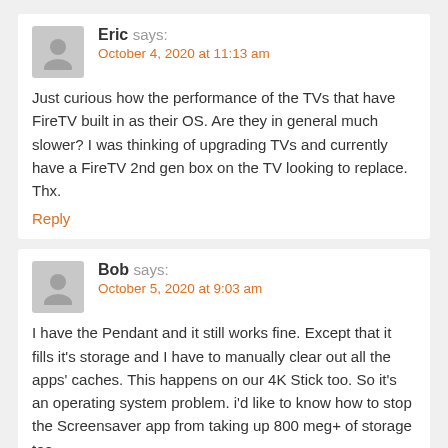Eric says: October 4, 2020 at 11:13 am
Just curious how the performance of the TVs that have FireTV built in as their OS. Are they in general much slower? I was thinking of upgrading TVs and currently have a FireTV 2nd gen box on the TV looking to replace. Thx.
Reply
Bob says: October 5, 2020 at 9:03 am
I have the Pendant and it still works fine. Except that it fills it's storage and I have to manually clear out all the apps' caches. This happens on our 4K Stick too. So it's an operating system problem. i'd like to know how to stop the Screensaver app from taking up 800 meg+ of storage too.
So when does everyone think a new 4K stick will be released? I'm keeping my Pendant for now. Thanks, Bob